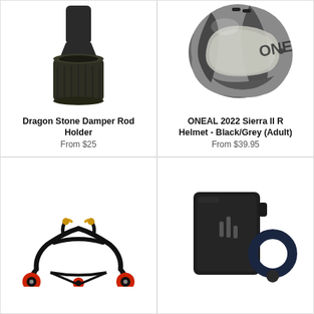[Figure (photo): Dragon Stone Damper Rod Holder – a black cylindrical cup-shaped rubber/plastic holder viewed from above]
Dragon Stone Damper Rod Holder
From $25
[Figure (photo): ONEAL 2022 Sierra II R Helmet in Black/Grey for adults – a full-face motocross/dual-sport helmet viewed from the side]
ONEAL 2022 Sierra II R Helmet - Black/Grey (Adult)
From $39.95
[Figure (photo): A black motorcycle paddock rear stand with red wheels/rollers and orange top hooks]
[Figure (photo): A black rectangular device (possibly a GPS tracker or mount) with a dark navy ring/holder accessory next to it]